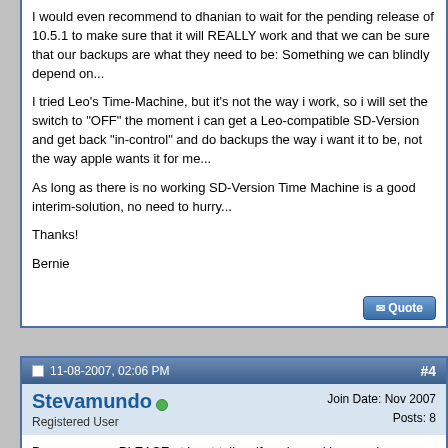I would even recommend to dhanian to wait for the pending release of 10.5.1 to make sure that it will REALLY work and that we can be sure that our backups are what they need to be: Something we can blindly depend on...
I tried Leo's Time-Machine, but it's not the way i work, so i will set the switch to "OFF" the moment i can get a Leo-compatible SD-Version and get back "in-control" and do backups the way i want it to be, not the way apple wants it for me...
As long as there is no working SD-Version Time Machine is a good interim-solution, no need to hurry...
Thanks!
Bernie
11-08-2007, 02:06 PM
#4
Stevamundo
Registered User
Join Date: Nov 2007
Posts: 8
Dave, can you PLEASE at least tell us if you're making good progress on a Leopard version on SD?
I'm VERY EXCITED of getting SD for Leopard!!!!!!